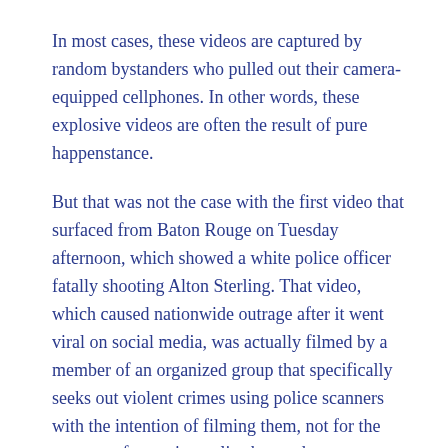In most cases, these videos are captured by random bystanders who pulled out their camera-equipped cellphones. In other words, these explosive videos are often the result of pure happenstance.
But that was not the case with the first video that surfaced from Baton Rouge on Tuesday afternoon, which showed a white police officer fatally shooting Alton Sterling. That video, which caused nationwide outrage after it went viral on social media, was actually filmed by a member of an organized group that specifically seeks out violent crimes using police scanners with the intention of filming them, not for the purpose of exposing police but to deter young people from crime.
Early Tuesday morning, members of the group, called Stop the Killing, followed a call they overheard on police scanners to the Triple S Food Mart in Baton Rouge. There, they filmed the shooting that has created a nationwide furor.